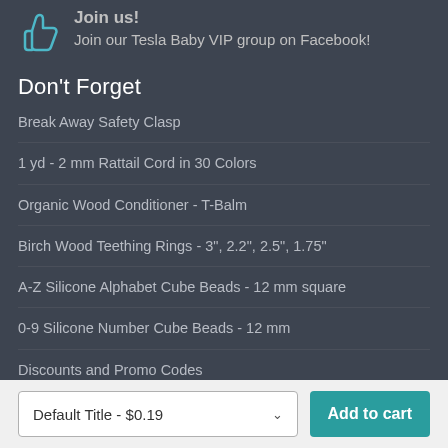Join us!
Join our Tesla Baby VIP group on Facebook!
Don't Forget
Break Away Safety Clasp
1 yd - 2 mm Rattail Cord in 30 Colors
Organic Wood Conditioner - T-Balm
Birch Wood Teething Rings - 3", 2.2", 2.5", 1.75"
A-Z Silicone Alphabet Cube Beads - 12 mm square
0-9 Silicone Number Cube Beads - 12 mm
Discounts and Promo Codes
Default Title - $0.19
Add to cart